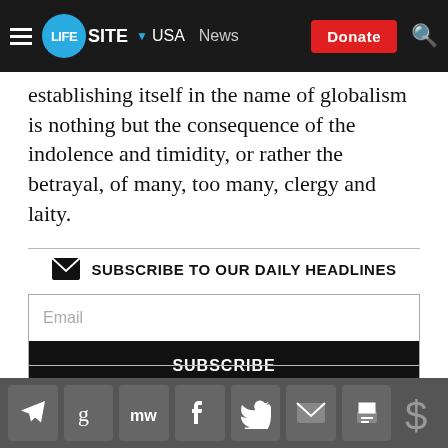LIFESITE | USA | News | Donate
establishing itself in the name of globalism is nothing but the consequence of the indolence and timidity, or rather the betrayal, of many, too many, clergy and laity.
SUBSCRIBE TO OUR DAILY HEADLINES
Email
SUBSCRIBE
US  Canada  World  Catholic
Article continues below Petition
Social share icons: Telegram, Gettr, MeWe, Facebook, Twitter, Email, Print | Donate